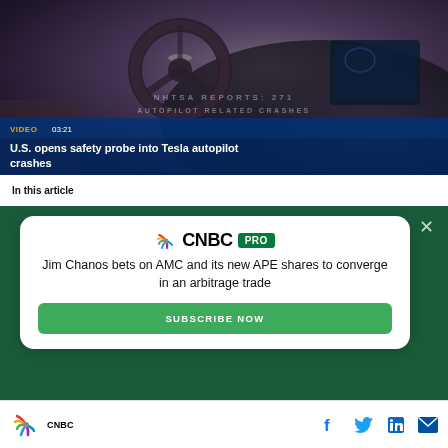[Figure (screenshot): Video thumbnail showing Tesla car interior with steering wheel and dashboard. Overlay text: VIDEO 03:21. Title overlay: U.S. opens safety probe into Tesla autopilot crashes. Background text shows NHTSA report and AUTOPILOT RELATED CRASHES.]
In this article
[Figure (infographic): CNBC PRO advertisement card on dark green background with close X button. Contains CNBC PRO logo, text: Jim Chanos bets on AMC and its new APE shares to converge in an arbitrage trade, and a SUBSCRIBE NOW green button.]
CNBC logo with peacock icon and social media icons: Facebook, Twitter, LinkedIn, Email